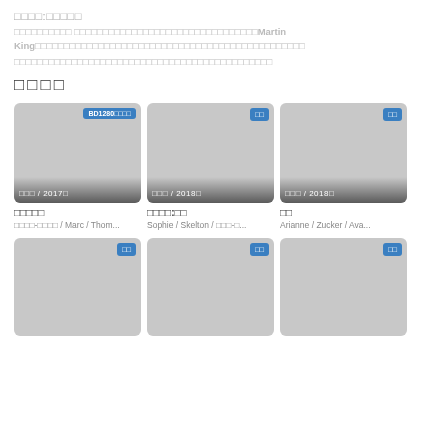□□□□:□□□□□
□□□□□□□□□□ □□□□□□□□□□□□□□□□□□□□□□□□□□□□□□□□□□Martin King□□□□□□□□□□□□□□□□□□□□□□□□□□□□□□□□□□□□□□□□□□□□□□□
□□□□
[Figure (other): Movie card with BD1280 badge, subtitle showing □□□ / 2017□, title □□□□□, actors □□□□-□□□□ / Marc / Thom...]
[Figure (other): Movie card with □□ badge, subtitle showing □□□ / 2018□, title □□□□:□□, actors Sophie / Skelton / □□□-□...]
[Figure (other): Movie card with □□ badge, subtitle showing □□□ / 2018□, title □□, actors Arianne / Zucker / Ava...]
[Figure (other): Movie card with □□ badge, bottom row first card]
[Figure (other): Movie card with □□ badge, bottom row second card]
[Figure (other): Movie card with □□ badge, bottom row third card]